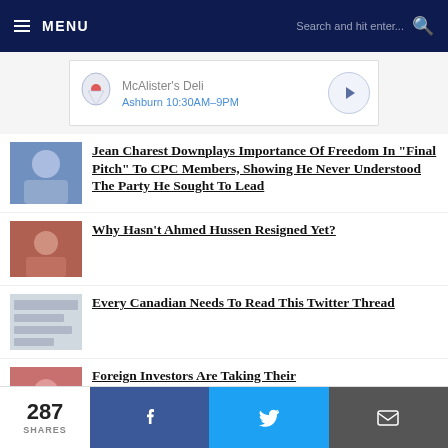MENU | Search and hit enter...
[Figure (screenshot): Advertisement banner: McAlister's Deli, Ashburn 10:30AM-9PM with map pin and navigation icon]
Jean Charest Downplays Importance Of Freedom In "Final Pitch" To CPC Members, Showing He Never Understood The Party He Sought To Lead
Why Hasn't Ahmed Hussen Resigned Yet?
Every Canadian Needs To Read This Twitter Thread
Foreign Investors Are Taking Their
287 SHARES | Facebook | Twitter | Email